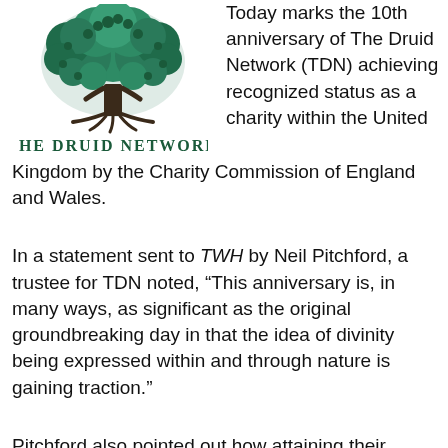[Figure (logo): The Druid Network logo: a large stylized green tree with dense foliage above, dark trunk and roots, with the text 'The Druid Network' in dark green serif font below]
Today marks the 10th anniversary of The Druid Network (TDN) achieving recognized status as a charity within the United Kingdom by the Charity Commission of England and Wales.
In a statement sent to TWH by Neil Pitchford, a trustee for TDN noted, “This anniversary is, in many ways, as significant as the original groundbreaking day in that the idea of divinity being expressed within and through nature is gaining traction.”
Pitchford also pointed out how attaining their charity status has helped to legitimize Druidry across the United Kingdom.